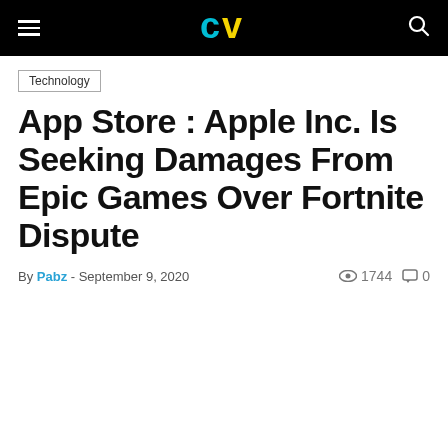CV logo navigation bar
Technology
App Store : Apple Inc. Is Seeking Damages From Epic Games Over Fortnite Dispute
By Pabz - September 9, 2020  1744  0